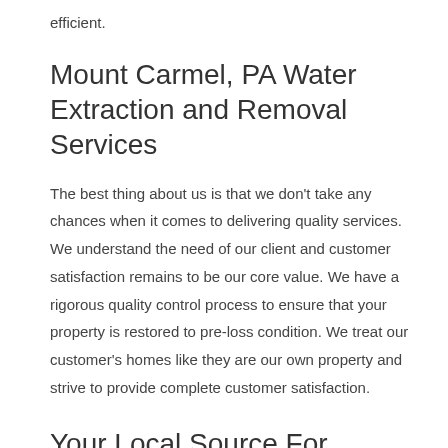efficient.
Mount Carmel, PA Water Extraction and Removal Services
The best thing about us is that we don't take any chances when it comes to delivering quality services. We understand the need of our client and customer satisfaction remains to be our core value. We have a rigorous quality control process to ensure that your property is restored to pre-loss condition. We treat our customer's homes like they are our own property and strive to provide complete customer satisfaction.
Your Local Source For Basement Flooding and Sump Pump Failure Cleanup Mount Carmel, PA